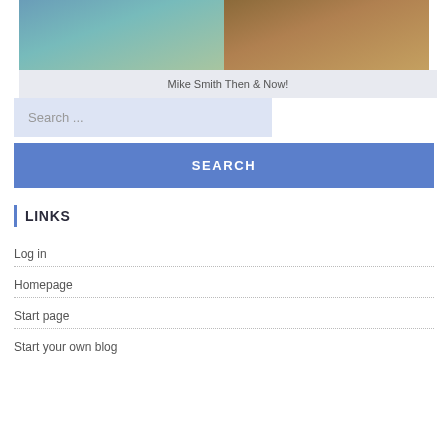[Figure (photo): Two side-by-side photos of Mike Smith, split image showing then and now]
Mike Smith Then & Now!
Search ...
SEARCH
LINKS
Log in
Homepage
Start page
Start your own blog